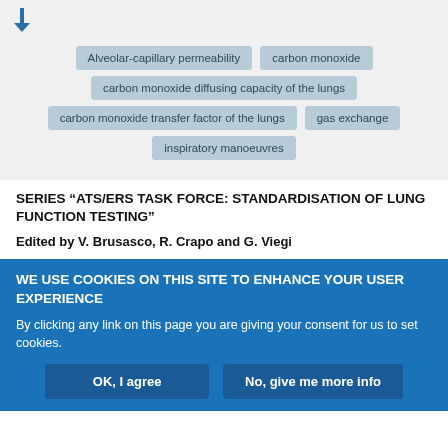[Figure (other): Down arrow icon in blue]
Alveolar-capillary permeability
carbon monoxide
carbon monoxide diffusing capacity of the lungs
carbon monoxide transfer factor of the lungs
gas exchange
inspiratory manoeuvres
SERIES “ATS/ERS TASK FORCE: STANDARDISATION OF LUNG FUNCTION TESTING”
Edited by V. Brusasco, R. Crapo and G. Viegi
WE USE COOKIES ON THIS SITE TO ENHANCE YOUR USER EXPERIENCE
By clicking any link on this page you are giving your consent for us to set cookies.
OK, I agree
No, give me more info